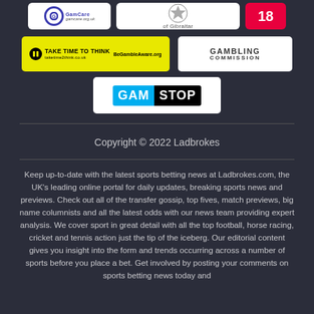[Figure (logo): GamCare logo - blue circular icon with text]
[Figure (logo): Government of Gibraltar crest/seal logo]
[Figure (logo): Red circular logo (partially visible)]
[Figure (logo): Take Time To Think / BeGambleAware yellow banner logo]
[Figure (logo): Gambling Commission white box logo]
[Figure (logo): GamStop logo - blue and black text]
Copyright © 2022 Ladbrokes
Keep up-to-date with the latest sports betting news at Ladbrokes.com, the UK's leading online portal for daily updates, breaking sports news and previews. Check out all of the transfer gossip, top fives, match previews, big name columnists and all the latest odds with our news team providing expert analysis. We cover sport in great detail with all the top football, horse racing, cricket and tennis action just the tip of the iceberg. Our editorial content gives you insight into the form and trends occurring across a number of sports before you place a bet. Get involved by posting your comments on sports betting news today and